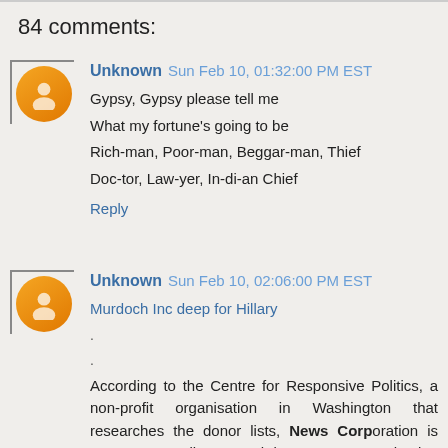84 comments:
Unknown  Sun Feb 10, 01:32:00 PM EST
Gypsy, Gypsy please tell me
What my fortune's going to be
Rich-man, Poor-man, Beggar-man, Thief
Doc-tor, Law-yer, In-di-an Chief
Reply
Unknown  Sun Feb 10, 02:06:00 PM EST
Murdoch Inc deep for Hillary
.
.
According to the Centre for Responsive Politics, a non-profit organisation in Washington that researches the donor lists, News Corporation is now Senator Clinton's 20th largest supporter, having contributed more than $US93,000 to her presidential campaign so far.